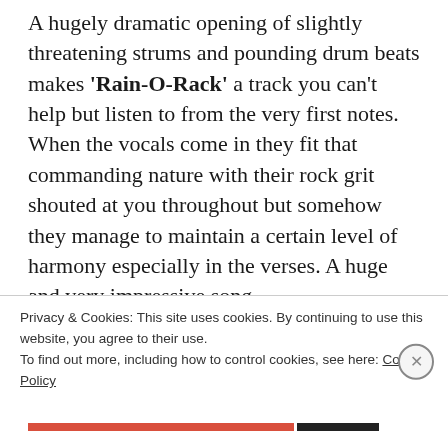A hugely dramatic opening of slightly threatening strums and pounding drum beats makes 'Rain-O-Rack' a track you can't help but listen to from the very first notes. When the vocals come in they fit that commanding nature with their rock grit shouted at you throughout but somehow they manage to maintain a certain level of harmony especially in the verses. A huge and very impressive song.
In complete contrast, 'Lemon Man' starts off
Privacy & Cookies: This site uses cookies. By continuing to use this website, you agree to their use.
To find out more, including how to control cookies, see here: Cookie Policy